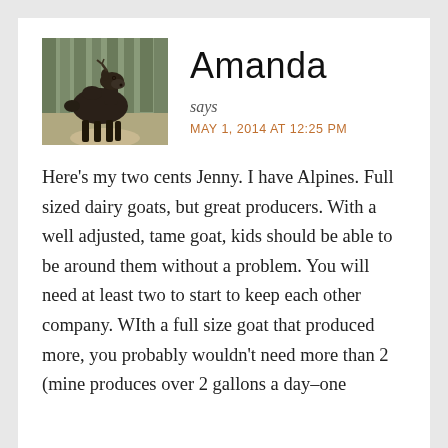[Figure (photo): A moose standing on a dirt path in a forest of conifer trees, viewed from the front-right side. The moose is dark brown.]
Amanda
says
MAY 1, 2014 AT 12:25 PM
Here's my two cents Jenny. I have Alpines. Full sized dairy goats, but great producers. With a well adjusted, tame goat, kids should be able to be around them without a problem. You will need at least two to start to keep each other company. WIth a full size goat that produced more, you probably wouldn't need more than 2 (mine produces over 2 gallons a day–one